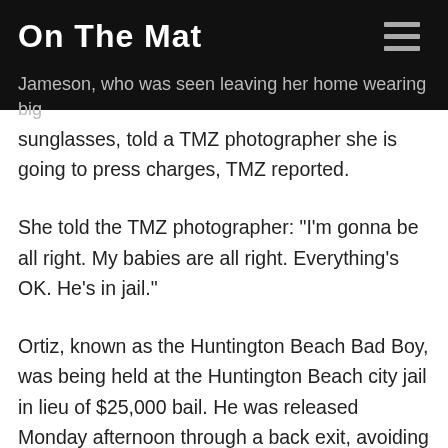On The Mat
Jameson, who was seen leaving her home wearing big sunglasses, told a TMZ photographer she is going to press charges, TMZ reported.
She told the TMZ photographer: "I'm gonna be all right. My babies are all right. Everything's OK. He's in jail."
Ortiz, known as the Huntington Beach Bad Boy, was being held at the Huntington Beach city jail in lieu of $25,000 bail. He was released Monday afternoon through a back exit, avoiding several photographers that were at the media entrance, and he is said to his...